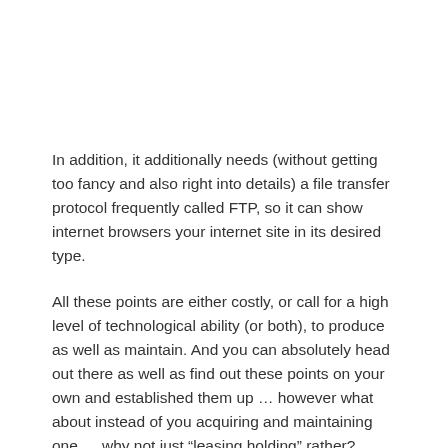In addition, it additionally needs (without getting too fancy and also right into details) a file transfer protocol frequently called FTP, so it can show internet browsers your internet site in its desired type.
All these points are either costly, or call for a high level of technological ability (or both), to produce as well as maintain. And you can absolutely head out there as well as find out these points on your own and established them up … however what about instead of you acquiring and maintaining one … why not just “leasing holding” rather?